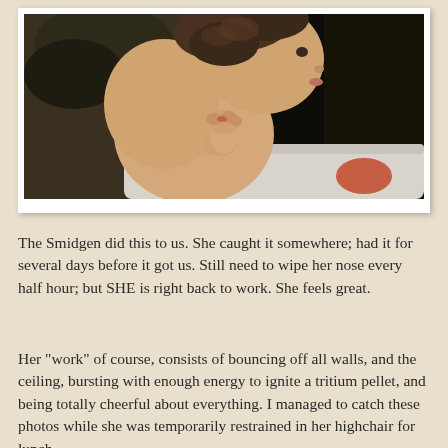[Figure (photo): A young toddler with curly hair, photographed in profile/side view, shirtless, sitting in a highchair with a white tray. The background is dark. The child appears to be looking to the right.]
The Smidgen did this to us. She caught it somewhere; had it for several days before it got us. Still need to wipe her nose every half hour; but SHE is right back to work. She feels great.
Her "work" of course, consists of bouncing off all walls, and the ceiling, bursting with enough energy to ignite a tritium pellet, and being totally cheerful about everything. I managed to catch these photos while she was temporarily restrained in her highchair for lunch.